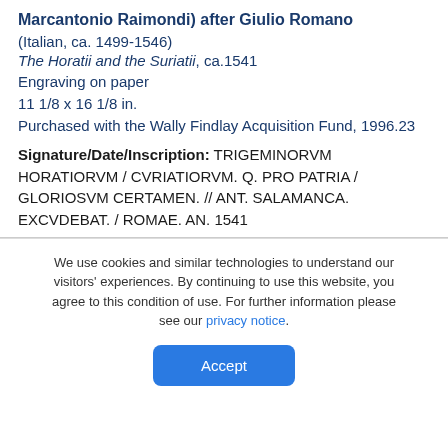Marcantonio Raimondi) after Giulio Romano
(Italian, ca. 1499-1546)
The Horatii and the Suriatii, ca.1541
Engraving on paper
11 1/8 x 16 1/8 in.
Purchased with the Wally Findlay Acquisition Fund, 1996.23
Signature/Date/Inscription: TRIGEMINORVM HORATIORVM / CVRIATIORVM. Q. PRO PATRIA / GLORIOSVM CERTAMEN. // ANT. SALAMANCA. EXCVDEBAT. / ROMAE. AN. 1541
We use cookies and similar technologies to understand our visitors’ experiences. By continuing to use this website, you agree to this condition of use. For further information please see our privacy notice.
Accept